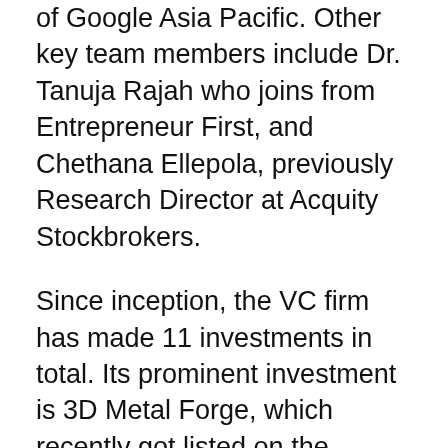of Google Asia Pacific. Other key team members include Dr. Tanuja Rajah who joins from Entrepreneur First, and Chethana Ellepola, previously Research Director at Acquity Stockbrokers.
Since inception, the VC firm has made 11 investments in total. Its prominent investment is 3D Metal Forge, which recently got listed on the Australian Stock Exchange. Other investees are health coaching startup Naluri, AI-enabled credit company Impact Credit Solutions, and health-tech startup Cipher Cancer Clinics.
“While maintaining Southeast Asian, broader regional and global aspirations, a majority of our portfolio companies will be Singapore headquartered. Singapore presents a fabulous